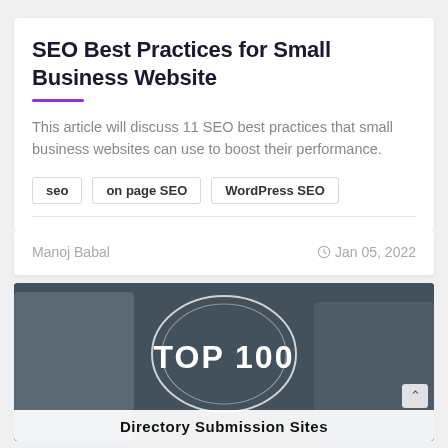SEO Best Practices for Small Business Website
This article will discuss 11 SEO best practices that small business websites can use to boost their performance.
seo
on page SEO
WordPress SEO
Manoj Babal
Jan 05, 2022
[Figure (photo): Dark background photo of a person holding something, with a circular overlay graphic containing 'TOP 100' text in white, and a white banner at the bottom reading 'Directory Submission Sites']